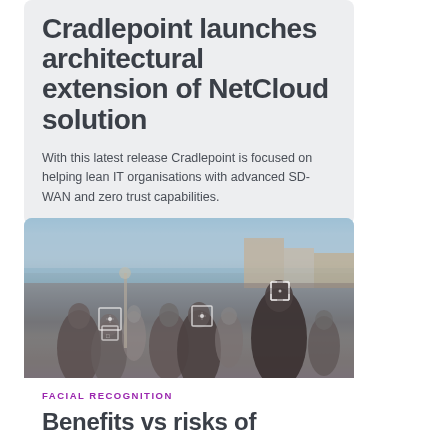Cradlepoint launches architectural extension of NetCloud solution
With this latest release Cradlepoint is focused on helping lean IT organisations with advanced SD-WAN and zero trust capabilities.
[Figure (photo): Crowd scene on a busy street or plaza with facial recognition detection boxes overlaid on people's faces]
FACIAL RECOGNITION
Benefits vs risks of